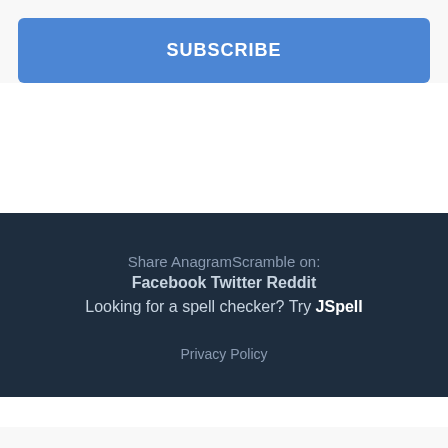SUBSCRIBE
Share AnagramScramble on: Facebook Twitter Reddit Looking for a spell checker? Try JSpell Privacy Policy